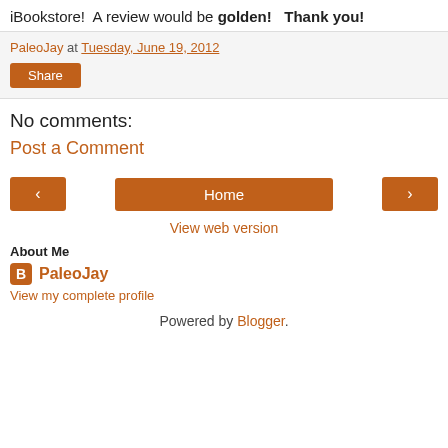iBookstore!  A review would be golden!   Thank you!
PaleoJay at Tuesday, June 19, 2012
Share
No comments:
Post a Comment
‹  Home  ›
View web version
About Me
PaleoJay
View my complete profile
Powered by Blogger.